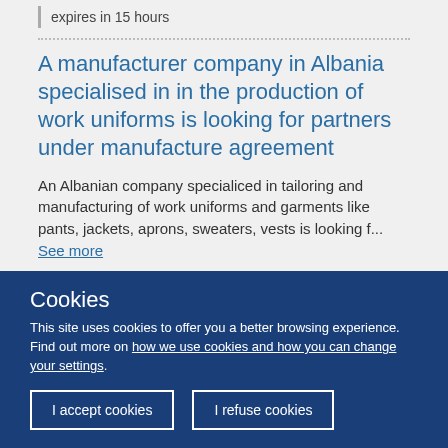expires in 15 hours
A manufacturer company in Albania specialised in in the production of work uniforms is looking for partners under manufacture agreement
An Albanian company specialiced in tailoring and manufacturing of work uniforms and garments like pants, jackets, aprons, sweaters, vests is looking f... See more
Cookies
This site uses cookies to offer you a better browsing experience. Find out more on how we use cookies and how you can change your settings.
I accept cookies
I refuse cookies